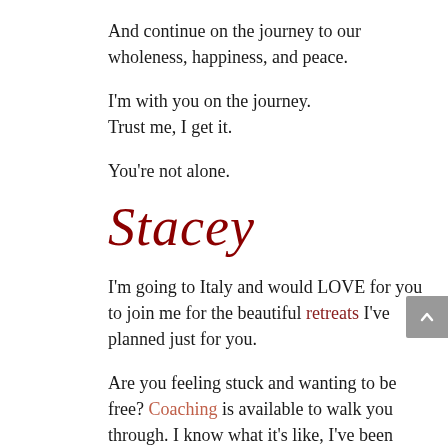And continue on the journey to our wholeness, happiness, and peace.
I'm with you on the journey.
Trust me, I get it.
You're not alone.
[Figure (illustration): Handwritten cursive signature reading 'Stacey' in dark red/maroon color]
I'm going to Italy and would LOVE for you to join me for the beautiful retreats I've planned just for you.
Are you feeling stuck and wanting to be free? Coaching is available to walk you through. I know what it's like, I've been there. You're not